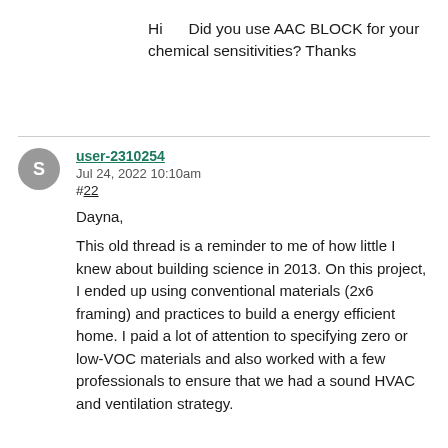Hi    Did you use AAC BLOCK for your chemical sensitivities? Thanks
user-2310254
Jul 24, 2022 10:10am
#22

Dayna,

This old thread is a reminder to me of how little I knew about building science in 2013. On this project, I ended up using conventional materials (2x6 framing) and practices to build a energy efficient home. I paid a lot of attention to specifying zero or low-VOC materials and also worked with a few professionals to ensure that we had a sound HVAC and ventilation strategy.